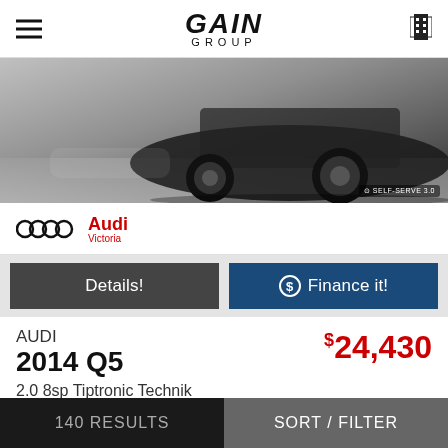GAIN GROUP
[Figure (photo): Partial view of a dark-colored Audi vehicle, showing the front wheel and lower body, photographed from a low angle in a gray/concrete setting.]
[Figure (logo): Audi Victoria dealership logo: four interlocking rings with 'Audi' in red and 'Victoria' below]
Details!
Finance it!
AUDI
2014 Q5
2.0 8sp Tiptronic Technik
in British-Columbia
$24,430
119,050 KM. Auto. Black Int: Black
140 RESULTS    SORT / FILTER